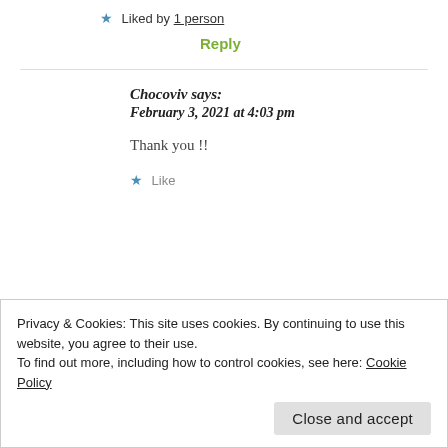★ Liked by 1 person
Reply
Chocoviv says: February 3, 2021 at 4:03 pm
Thank you !!
★ Like
Privacy & Cookies: This site uses cookies. By continuing to use this website, you agree to their use. To find out more, including how to control cookies, see here: Cookie Policy
Close and accept